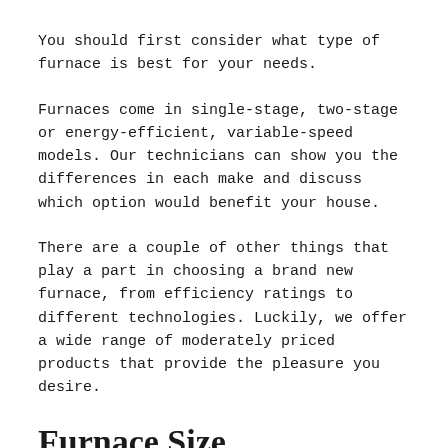You should first consider what type of furnace is best for your needs.
Furnaces come in single-stage, two-stage or energy-efficient, variable-speed models. Our technicians can show you the differences in each make and discuss which option would benefit your house.
There are a couple of other things that play a part in choosing a brand new furnace, from efficiency ratings to different technologies. Luckily, we offer a wide range of moderately priced products that provide the pleasure you desire.
Furnace Size